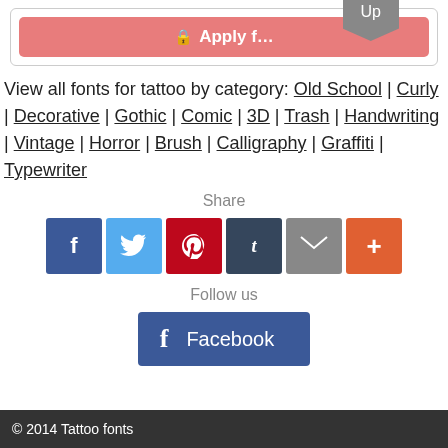[Figure (screenshot): Apply filter button (salmon/red background) with a lock icon and text 'Apply f...' partially obscured by an 'Up' badge overlay in gray]
View all fonts for tattoo by category: Old School | Curly | Decorative | Gothic | Comic | 3D | Trash | Handwriting | Vintage | Horror | Brush | Calligraphy | Graffiti | Typewriter
Share
[Figure (infographic): Social share buttons: Facebook (blue), Twitter (light blue), Pinterest (red), Tumblr (dark blue), Email (gray), More (orange)]
Follow us
[Figure (infographic): Facebook follow button (blue with f icon and Facebook text)]
© 2014 Tattoo fonts